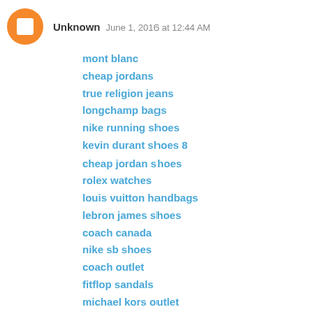Unknown  June 1, 2016 at 12:44 AM
mont blanc
cheap jordans
true religion jeans
longchamp bags
nike running shoes
kevin durant shoes 8
cheap jordan shoes
rolex watches
louis vuitton handbags
lebron james shoes
coach canada
nike sb shoes
coach outlet
fitflop sandals
michael kors outlet
michael kors handbags
polo ralph lauren
adidas originals shoes
fitflops
michael kors outlet clearance
cheap nfl jerseys